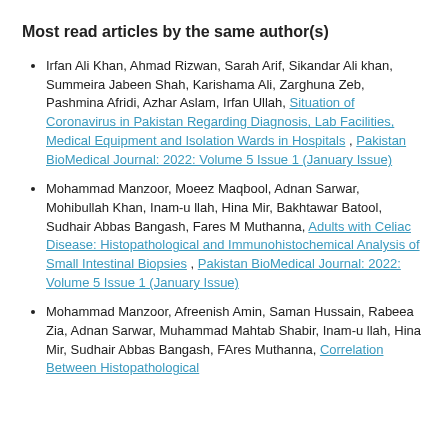Most read articles by the same author(s)
Irfan Ali Khan, Ahmad Rizwan, Sarah Arif, Sikandar Ali khan, Summeira Jabeen Shah, Karishama Ali, Zarghuna Zeb, Pashmina Afridi, Azhar Aslam, Irfan Ullah, Situation of Coronavirus in Pakistan Regarding Diagnosis, Lab Facilities, Medical Equipment and Isolation Wards in Hospitals , Pakistan BioMedical Journal: 2022: Volume 5 Issue 1 (January Issue)
Mohammad Manzoor, Moeez Maqbool, Adnan Sarwar, Mohibullah Khan, Inam-u llah, Hina Mir, Bakhtawar Batool, Sudhair Abbas Bangash, Fares M Muthanna, Adults with Celiac Disease: Histopathological and Immunohistochemical Analysis of Small Intestinal Biopsies , Pakistan BioMedical Journal: 2022: Volume 5 Issue 1 (January Issue)
Mohammad Manzoor, Afreenish Amin, Saman Hussain, Rabeea Zia, Adnan Sarwar, Muhammad Mahtab Shabir, Inam-u llah, Hina Mir, Sudhair Abbas Bangash, FAres Muthanna, Correlation Between Histopathological